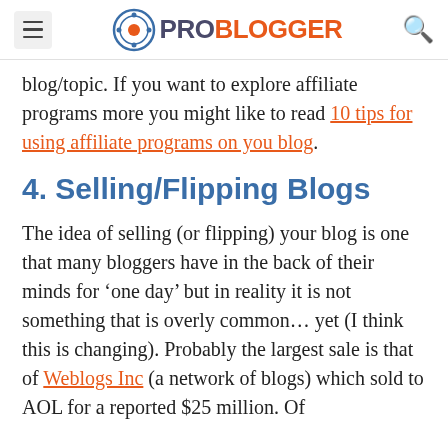ProBlogger
blog/topic. If you want to explore affiliate programs more you might like to read 10 tips for using affiliate programs on you blog.
4. Selling/Flipping Blogs
The idea of selling (or flipping) your blog is one that many bloggers have in the back of their minds for 'one day' but in reality it is not something that is overly common… yet (I think this is changing). Probably the largest sale is that of Weblogs Inc (a network of blogs) which sold to AOL for a reported $25 million. Of